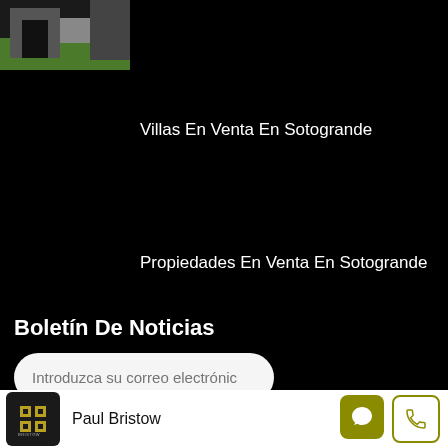[Figure (photo): Thumbnail image of a property exterior with green lawn and building archway]
Villas En Venta En Sotogrande
Propiedades En Venta En Sotogrande
Boletín De Noticias
Introduzca su correo electrónic
[Figure (logo): Bristow Property Group logo in gold on black background]
Paul Bristow